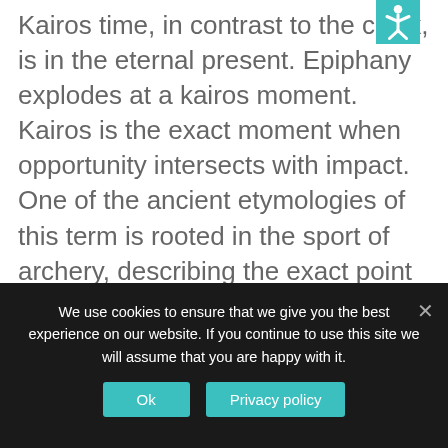Kairos time, in contrast to the clock, is in the eternal present. Epiphany explodes at a kairos moment. Kairos is the exact moment when opportunity intersects with impact. One of the ancient etymologies of this term is rooted in the sport of archery, describing the exact point of time in which an arrow pierces its target. WHOOSH! SMACK! BAM! This pinpoint moment of impact pressed into a spark of eternal present. (E14) The instant one atom splits into two, creating a nuclear explosion. The exact moment of fission
We use cookies to ensure that we give you the best experience on our website. If you continue to use this site we will assume that you are happy with it.